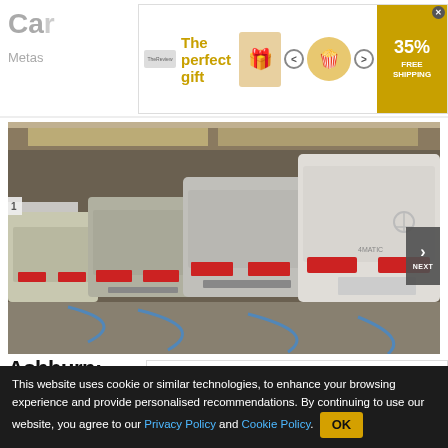Car... Metas...
[Figure (infographic): Advertisement banner: 'The perfect gift' with popcorn bowl image, navigation arrows, 35% FREE SHIPPING offer]
[Figure (photo): Row of white and silver Mercedes-Benz SUVs/GLK parked in an indoor garage/transport area, viewed from rear, strapped down with blue ties on a vehicle carrier or warehouse floor]
Ashburn: Unsold Never-Driven Cars
[Figure (infographic): Inline advertisement: Virginia: New Policy Helps 90% of Drivers Who Are Overpaying for... AD Smart Lifestyle Trends]
This website uses cookie or similar technologies, to enhance your browsing experience and provide personalised recommendations. By continuing to use our website, you agree to our Privacy Policy and Cookie Policy. OK